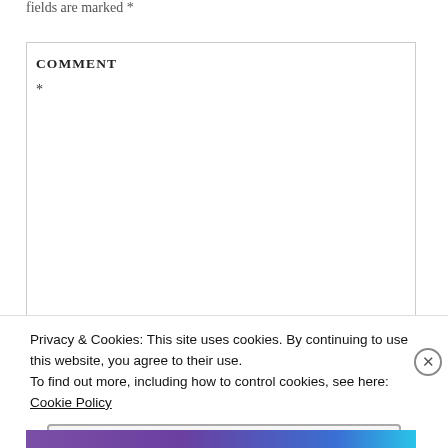fields are marked *
COMMENT *
Privacy & Cookies: This site uses cookies. By continuing to use this website, you agree to their use.
To find out more, including how to control cookies, see here: Cookie Policy
Close and accept